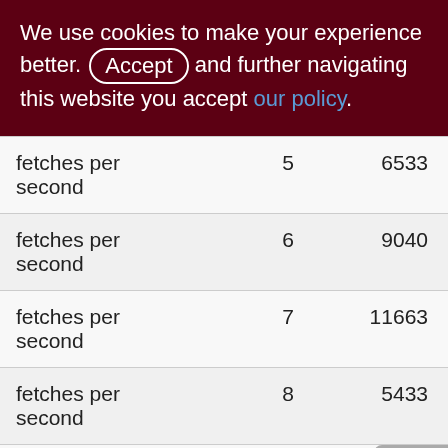We use cookies to make your experience better. By accepting and further navigating this website you accept our policy.
| fetches per second | 5 | 6533 |
| fetches per second | 6 | 9040 |
| fetches per second | 7 | 11663 |
| fetches per second | 8 | 5433 |
| fetches per second | 9 | 15601 |